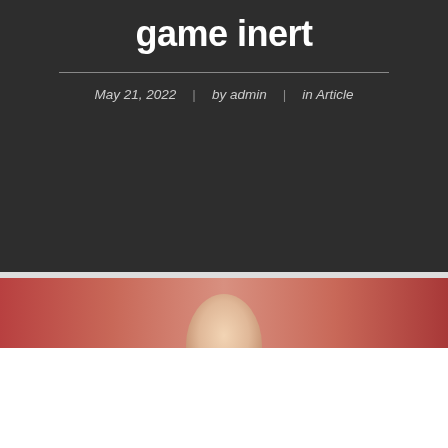game inert
May 21, 2022  |  by admin  |  in Article
[Figure (photo): Partial photo of a person's head/face cropped at the top, with a reddish/warm background gradient, only the top of a bald or light-haired head visible]